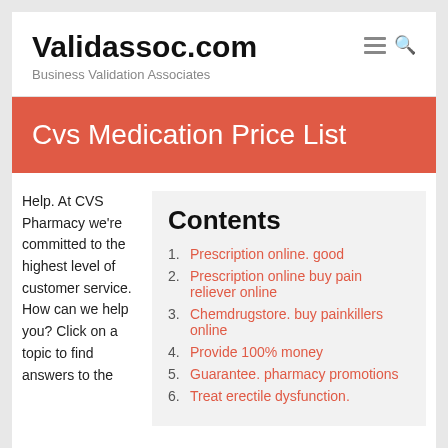Validassoc.com
Business Validation Associates
Cvs Medication Price List
Help. At CVS Pharmacy we're committed to the highest level of customer service. How can we help you? Click on a topic to find answers to the
Contents
1. Prescription online. good
2. Prescription online buy pain reliever online
3. Chemdrugstore. buy painkillers online
4. Provide 100% money
5. Guarantee. pharmacy promotions
6. Treat erectile dysfunction.